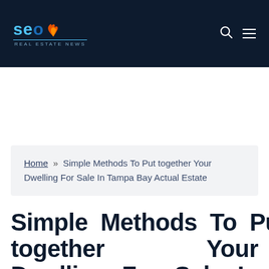[Figure (logo): SEO Real Estate News logo — stylized letters 'seo' in blue with flame icon, subtitle 'Real Estate News' below]
Home » Simple Methods To Put together Your Dwelling For Sale In Tampa Bay Actual Estate
Simple Methods To Put together Your Dwelling For Sale In Tampa Bay Actual Estate